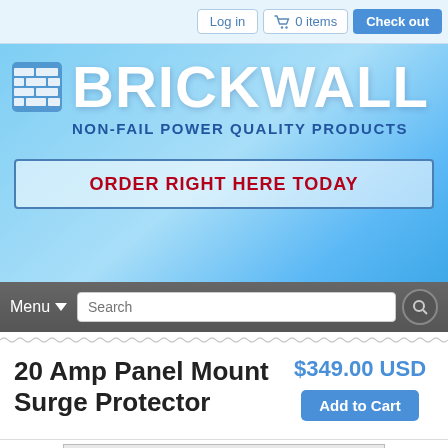Log in  0 items  Check out
BRICKWALL
NON-FAIL POWER QUALITY PRODUCTS
ORDER RIGHT HERE TODAY
Menu
20 Amp Panel Mount Surge Protector
$349.00 USD
Add to Cart
[Figure (photo): 20 Amp Panel Mount Surge Protector - gray metal electrical enclosure with red sticker label and internal components visible]